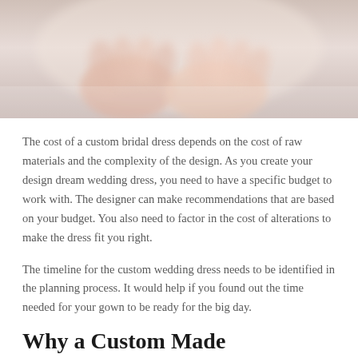[Figure (photo): Blurred close-up photo of hands, likely bride and groom holding hands, soft pink and cream tones]
The cost of a custom bridal dress depends on the cost of raw materials and the complexity of the design. As you create your design dream wedding dress, you need to have a specific budget to work with. The designer can make recommendations that are based on your budget. You also need to factor in the cost of alterations to make the dress fit you right.
The timeline for the custom wedding dress needs to be identified in the planning process. It would help if you found out the time needed for your gown to be ready for the big day.
Why a Custom Made Wedding Dress